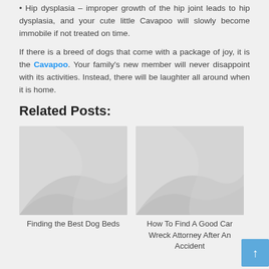• Hip dysplasia – improper growth of the hip joint leads to hip dysplasia, and your cute little Cavapoo will slowly become immobile if not treated on time.
If there is a breed of dogs that come with a package of joy, it is the Cavapoo. Your family's new member will never disappoint with its activities. Instead, there will be laughter all around when it is home.
Related Posts:
[Figure (photo): Placeholder image for Finding the Best Dog Beds article]
Finding the Best Dog Beds
[Figure (photo): Placeholder image for How To Find A Good Car Wreck Attorney After An Accident article]
How To Find A Good Car Wreck Attorney After An Accident